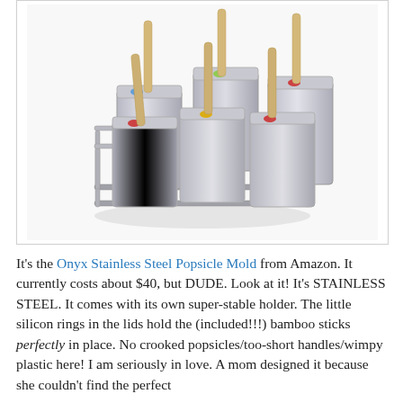[Figure (photo): Onyx Stainless Steel Popsicle Mold with rack holding 6 stainless steel popsicle molds with bamboo sticks and colorful silicon rings on white background]
It's the Onyx Stainless Steel Popsicle Mold from Amazon. It currently costs about $40, but DUDE. Look at it! It's STAINLESS STEEL. It comes with its own super-stable holder. The little silicon rings in the lids hold the (included!!!) bamboo sticks perfectly in place. No crooked popsicles/too-short handles/wimpy plastic here! I am seriously in love. A mom designed it because she couldn't find the perfect